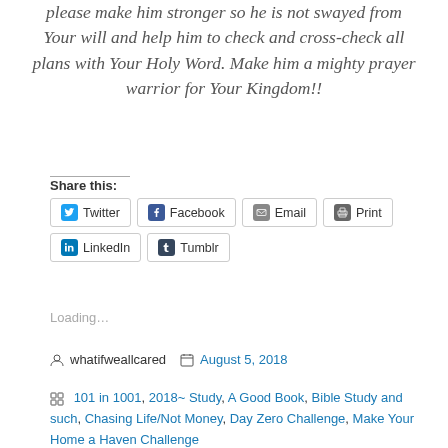please make him stronger so he is not swayed from Your will and help him to check and cross-check all plans with Your Holy Word. Make him a mighty prayer warrior for Your Kingdom!!
Share this:
Twitter
Facebook
Email
Print
LinkedIn
Tumblr
Loading…
whatifweallcared  August 5, 2018
101 in 1001, 2018~ Study, A Good Book, Bible Study and such, Chasing Life/Not Money, Day Zero Challenge, Make Your Home a Haven Challenge